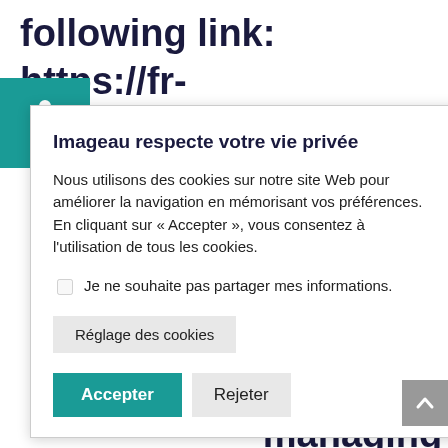following link: https://fr-
r.facebook.com/policies/cookies/
[Figure (illustration): Teal accessibility wheelchair icon in a teal square box]
icy can
llowing
jal/cookie
managing
ies and
ound at:
Imageau respecte votre vie privée
Nous utilisons des cookies sur notre site Web pour améliorer la navigation en mémorisant vos préférences. En cliquant sur « Accepter », vous consentez à l'utilisation de tous les cookies.
Je ne souhaite pas partager mes informations.
Réglage des cookies
Accepter
Rejeter
[Figure (illustration): Grey scroll-to-top button with upward chevron arrow]